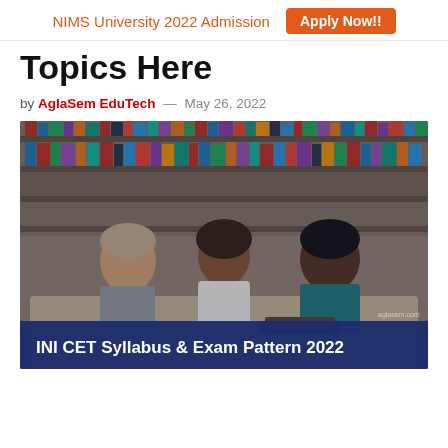NIMS University 2022 Admission   Apply Now!!
Topics Here
by AglaSem EduTech — May 26, 2022
[Figure (photo): Three students studying together in a library with bookshelves in the background, overlaid with banner text 'INI CET Syllabus & Exam Pattern 2022']